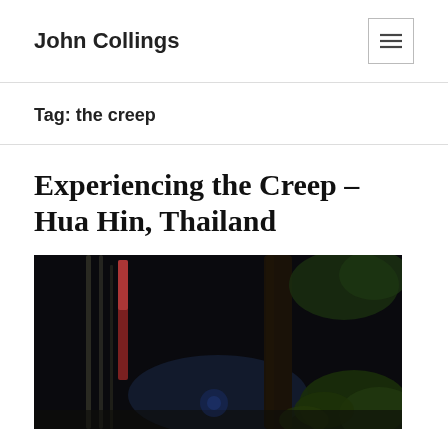John Collings
Tag: the creep
Experiencing the Creep – Hua Hin, Thailand
[Figure (photo): Dark nighttime outdoor scene with bamboo poles, a tree trunk, and green foliage visible in the foreground with a dark background and subtle blue lighting.]